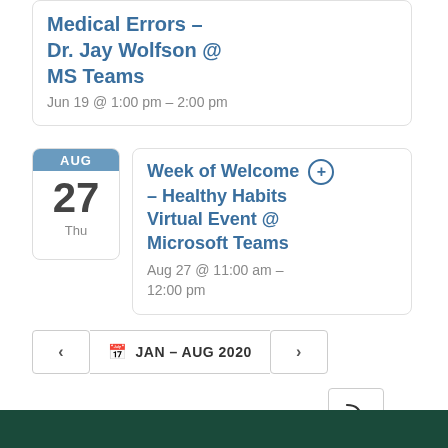Medical Errors – Dr. Jay Wolfson @ MS Teams
Jun 19 @ 1:00 pm – 2:00 pm
AUG 27 Thu
Week of Welcome – Healthy Habits Virtual Event @ Microsoft Teams
Aug 27 @ 11:00 am – 12:00 pm
JAN – AUG 2020